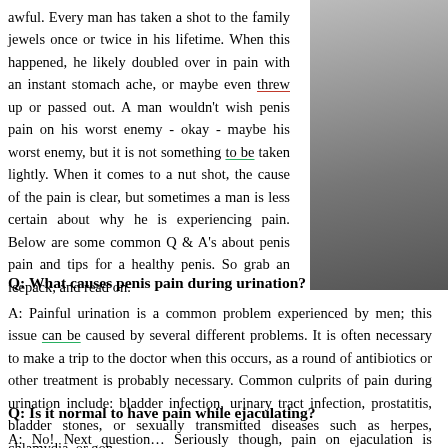awful. Every man has taken a shot to the family jewels once or twice in his lifetime. When this happened, he likely doubled over in pain with an instant stomach ache, or maybe even threw up or passed out. A man wouldn't wish penis pain on his worst enemy - okay - maybe his worst enemy, but it is not something to be taken lightly. When it comes to a nut shot, the cause of the pain is clear, but sometimes a man is less certain about why he is experiencing pain. Below are some common Q & A's about penis pain and tips for a healthy penis. So grab an icepack, and read on.
[Figure (photo): Black and white photo of a person, partially visible on the right side of the page]
Q: What causes penis pain during urination?
A: Painful urination is a common problem experienced by men; this issue can be caused by several different problems. It is often necessary to make a trip to the doctor when this occurs, as a round of antibiotics or other treatment is probably necessary. Common culprits of pain during urination include: bladder infection, urinary tract infection, prostatitis, bladder stones, or sexually transmitted diseases such as herpes, chlamydia, or gon
Q: Is it normal to have pain while ejaculating?
A: No! Next question… Seriously though, pain on ejaculation is followed up by a trip to the urologist. A painful release could in